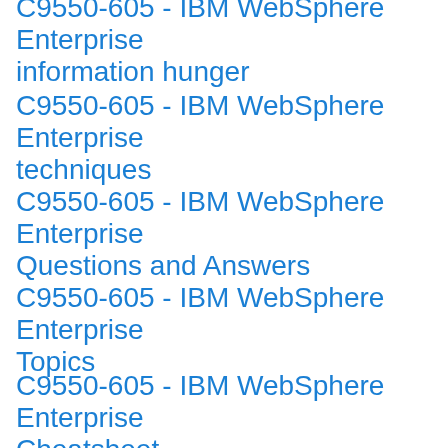C9550-605 - IBM WebSphere Enterprise information hunger
C9550-605 - IBM WebSphere Enterprise techniques
C9550-605 - IBM WebSphere Enterprise Questions and Answers
C9550-605 - IBM WebSphere Enterprise Topics
C9550-605 - IBM WebSphere Enterprise Cheatsheet
C9550-605 - IBM WebSphere Enterprise